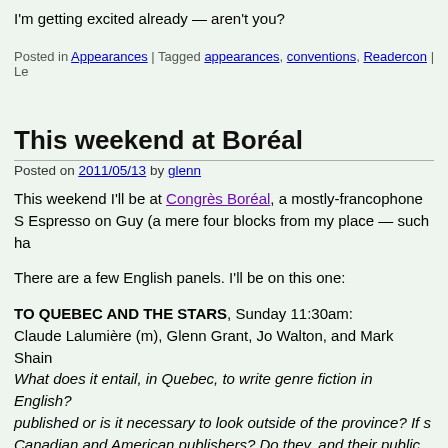I'm getting excited already — aren't you?
Posted in Appearances | Tagged appearances, conventions, Readercon | Le
This weekend at Boréal
Posted on 2011/05/13 by glenn
This weekend I'll be at Congrès Boréal, a mostly-francophone S Espresso on Guy (a mere four blocks from my place — such ha
There are a few English panels. I'll be on this one:
TO QUEBEC AND THE STARS, Sunday 11:30am:
Claude Lalumière (m), Glenn Grant, Jo Walton, and Mark Shain
What does it entail, in Quebec, to write genre fiction in English? published or is it necessary to look outside of the province? If s Canadian and American publishers? Do they, and their public, h writers should account for when submitting their work? What ab a broader readership?
I suspect we will deal with the questions in the panel description off onto whatever we want to talk about for the rest of the hour